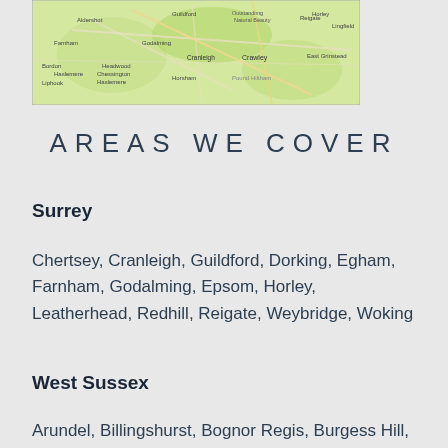[Figure (map): A map showing the Surrey and West Sussex region of England, including locations such as Aldershot, Guildford, Farnham, Godalming, Cranleigh, Horley, Lingfield, Crawley, East Grinstead, Horsham, Haslemere, and surrounding areas.]
AREAS WE COVER
Surrey
Chertsey, Cranleigh, Guildford, Dorking, Egham, Farnham, Godalming, Epsom, Horley, Leatherhead, Redhill, Reigate, Weybridge, Woking
West Sussex
Arundel, Billingshurst, Bognor Regis, Burgess Hill, Chichester, Crawley, East Grinstead, Haywards Heath